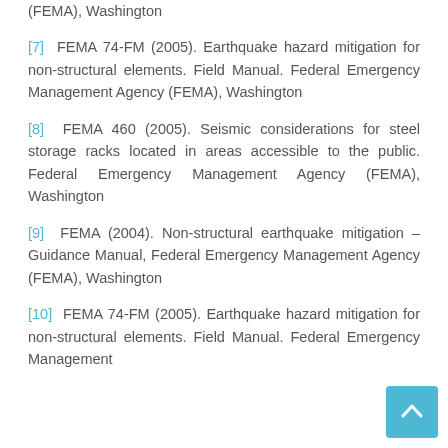(FEMA), Washington
[7] FEMA 74-FM (2005). Earthquake hazard mitigation for non-structural elements. Field Manual. Federal Emergency Management Agency (FEMA), Washington
[8] FEMA 460 (2005). Seismic considerations for steel storage racks located in areas accessible to the public. Federal Emergency Management Agency (FEMA), Washington
[9] FEMA (2004). Non-structural earthquake mitigation – Guidance Manual, Federal Emergency Management Agency (FEMA), Washington
[10] FEMA 74-FM (2005). Earthquake hazard mitigation for non-structural elements. Field Manual. Federal Emergency Management Agency (FEMA), Washington